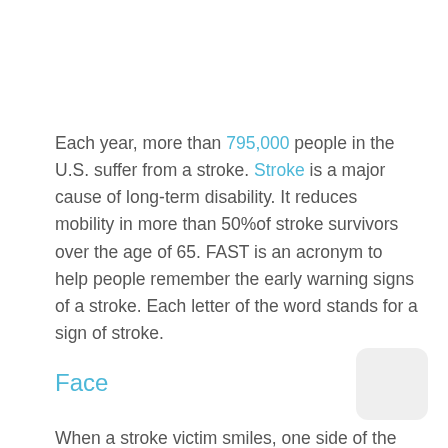Each year, more than 795,000 people in the U.S. suffer from a stroke. Stroke is a major cause of long-term disability. It reduces mobility in more than 50%of stroke survivors over the age of 65. FAST is an acronym to help people remember the early warning signs of a stroke. Each letter of the word stands for a sign of stroke.
Face
When a stroke victim smiles, one side of the face droops down.